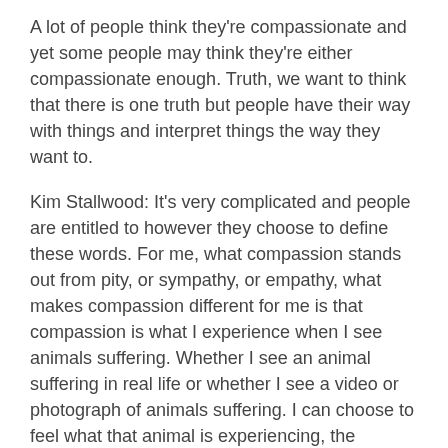A lot of people think they're compassionate and yet some people may think they're either compassionate enough. Truth, we want to think that there is one truth but people have their way with things and interpret things the way they want to.
Kim Stallwood: It's very complicated and people are entitled to however they choose to define these words. For me, what compassion stands out from pity, or sympathy, or empathy, what makes compassion different for me is that compassion is what I experience when I see animals suffering. Whether I see an animal suffering in real life or whether I see a video or photograph of animals suffering. I can choose to feel what that animal is experiencing, the suffering that they're enduring and it provokes me to want to act for them not on their behalf, and that is the key difference I think about compassion. It not only makes me choose to know what they're experiencing but it compels me to want me to do something about it.
Caryn Hartglass: So we mentioned the gook thing about this book is it's a great resource for people who are either getting started or